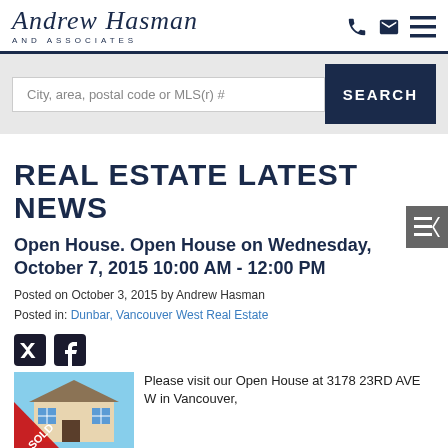Andrew Hasman and Associates
City, area, postal code or MLS(r) # SEARCH
REAL ESTATE LATEST NEWS
Open House. Open House on Wednesday, October 7, 2015 10:00 AM - 12:00 PM
Posted on October 3, 2015 by Andrew Hasman
Posted in: Dunbar, Vancouver West Real Estate
[Figure (illustration): Twitter and Facebook social media icons]
[Figure (photo): Photo of a house listing with a red SOLD banner overlay]
Please visit our Open House at 3178 23RD AVE W in Vancouver,